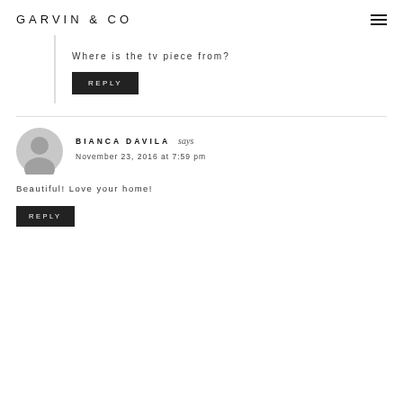GARVIN & CO
Where is the tv piece from?
REPLY
BIANCA DAVILA says
November 23, 2016 at 7:59 pm
Beautiful! Love your home!
REPLY